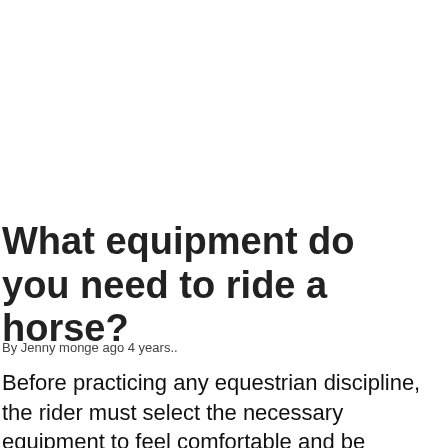What equipment do you need to ride a horse?
By Jenny monge ago 4 years..
Before practicing any equestrian discipline, the rider must select the necessary equipment to feel comfortable and be protected against ...